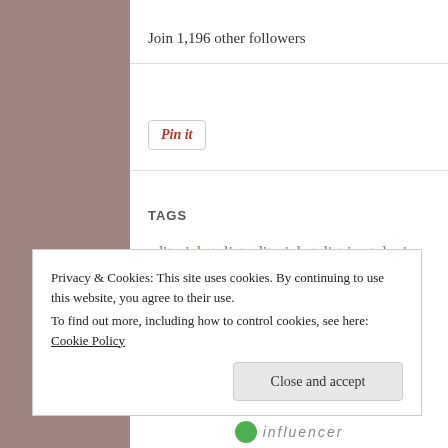Join 1,196 other followers
[Figure (logo): Pinterest 'Pin it' button]
TAGS
editorial stylist  editorial stylist in st. louis  hairstyles  hairstylist in st. louis  kristen linares  spring
Privacy & Cookies: This site uses cookies. By continuing to use this website, you agree to their use.
To find out more, including how to control cookies, see here: Cookie Policy
Close and accept